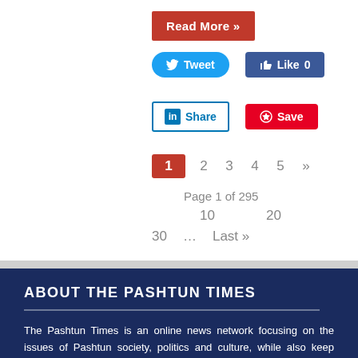Read More »
Tweet
Like 0
Share
Save
1  2  3  4  5  »   Page 1 of 295   10   20   30  ...  Last »
ABOUT THE PASHTUN TIMES
The Pashtun Times is an online news network focusing on the issues of Pashtun society, politics and culture, while also keep informing the Pashtuns about the international world and politics. The policy of the newspaper is based on Pax humana. The Pashtun Times promotes human dignity,